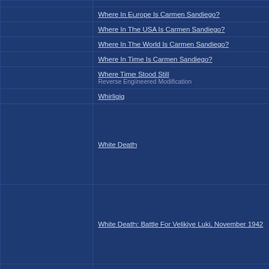|  | Title | Tags |
| --- | --- | --- |
|  | Where In Europe Is Carmen Sandiego? | OCS |
|  | Where In The USA Is Carmen Sandiego? | OCS |
|  | Where In The World Is Carmen Sandiego? | OCS |
|  | Where In Time Is Carmen Sandiego? | ECS OCS |
|  | Where Time Stood Still / Reverse Engineered Modification | ECS OCS |
|  | Whirligig | OCS |
|  | White Death | OCS |
|  | White Death: Battle For Velikiye Luki, November 1942 | OCS |
|  | White Rabbits / Licenceware | ECS OCS |